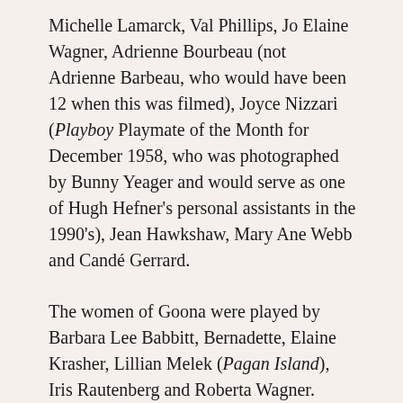Michelle Lamarck, Val Phillips, Jo Elaine Wagner, Adrienne Bourbeau (not Adrienne Barbeau, who would have been 12 when this was filmed), Joyce Nizzari (Playboy Playmate of the Month for December 1958, who was photographed by Bunny Yeager and would serve as one of Hugh Hefner's personal assistants in the 1990's), Jean Hawkshaw, Mary Ane Webb and Candé Gerrard.
The women of Goona were played by Barbara Lee Babbitt, Bernadette, Elaine Krasher, Lillian Melek (Pagan Island), Iris Rautenberg and Roberta Wagner.
If you want to learn more about them — and this slice of strangeness — I recommend the Women of Wongo page.
I'm trying to think of what message that this is all trying to send and how it ties into our week of female-based societies when it really seems that this movie is all about outward appearance. It does have a talking parrot and lots